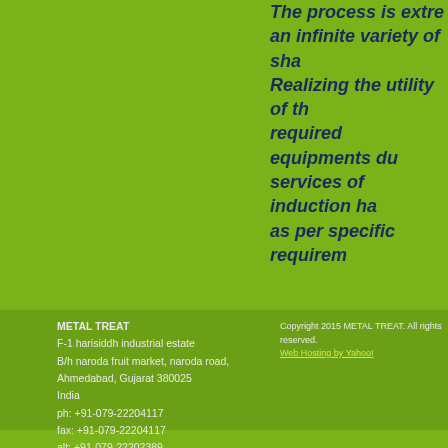The process is extremely versatile producing an infinite variety of shapes and sizes. Realizing the utility of the process and required equipments during manufacturing services of induction hardening are offered as per specific requirements.
METAL TREAT
F-1 harisiddh industrial estate
B/h naroda fruit market, naroda road,
Ahmedabad, Gujarat 380025
India
ph: +91-079-22204117
fax: +91-079-22204117
alt: +91-079-22202389
metaltreat@hotmail.com
Copyright 2015 METAL TREAT. All rights reserved.
Web Hosting by Yahoo!